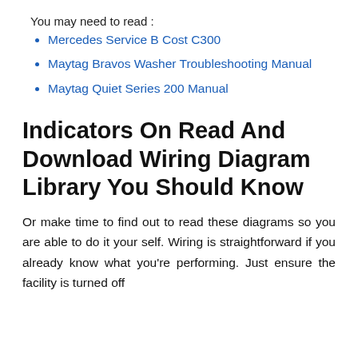You may need to read :
Mercedes Service B Cost C300
Maytag Bravos Washer Troubleshooting Manual
Maytag Quiet Series 200 Manual
Indicators On Read And Download Wiring Diagram Library You Should Know
Or make time to find out to read these diagrams so you are able to do it your self. Wiring is straightforward if you already know what you're performing. Just ensure the facility is turned off